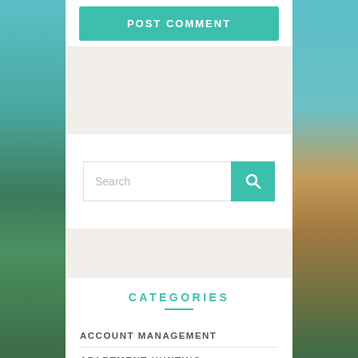[Figure (screenshot): POST COMMENT button in teal/green color at top of page]
[Figure (screenshot): Search bar with magnifying glass button in teal color]
CATEGORIES
ACCOUNT MANAGEMENT
APARTMENT HUNTING